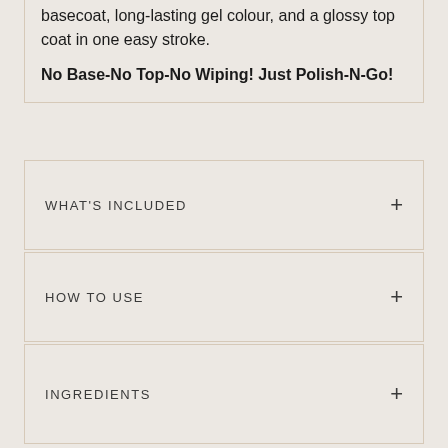basecoat, long-lasting gel colour, and a glossy top coat in one easy stroke.
No Base-No Top-No Wiping! Just Polish-N-Go!
WHAT'S INCLUDED
HOW TO USE
INGREDIENTS